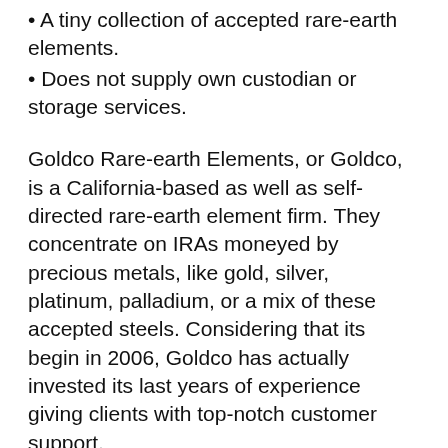A tiny collection of accepted rare-earth elements.
Does not supply own custodian or storage services.
Goldco Rare-earth Elements, or Goldco, is a California-based as well as self-directed rare-earth element firm. They concentrate on IRAs moneyed by precious metals, like gold, silver, platinum, palladium, or a mix of these accepted steels. Considering that its begin in 2006, Goldco has actually invested its last years of experience giving clients with top-notch customer support.
A couple of minutes of study online reveals that all of their consumers are more than pleased with the solution they offer, with over 90% of their reviews being positive. Any